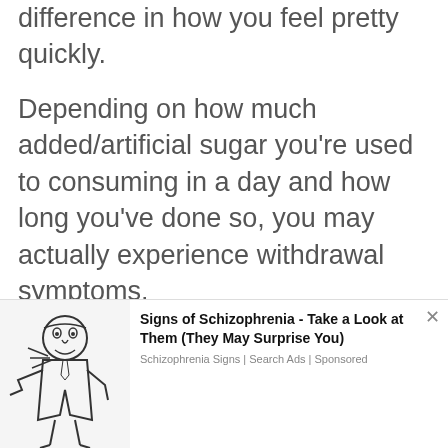You'll notice the difference in how you feel pretty quickly.
Depending on how much added/artificial sugar you're used to consuming in a day and how long you've done so, you may actually experience withdrawal symptoms.
(20) Like any other
[Figure (illustration): Cartoon illustration of a person sneezing or reacting strongly, used in an advertisement overlay]
Signs of Schizophrenia - Take a Look at Them (They May Surprise You)
Schizophrenia Signs | Search Ads | Sponsored